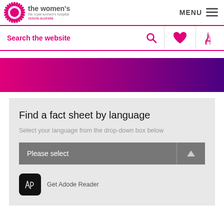[Figure (logo): The Women's – The Royal Women's Hospital Victoria Australia logo with pink starburst graphic]
MENU
Search the website
[Figure (illustration): Pink to purple gradient banner]
Find a fact sheet by language
Select your language from the drop-down box below
Please select
Get Adode Reader